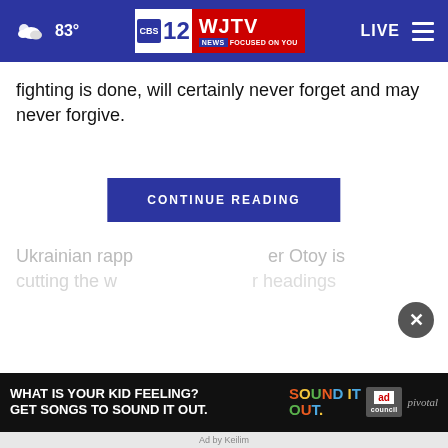83° WJTV News Channel 12 — LIVE
fighting is done, will certainly never forget and may never forgive.
CONTINUE READING
Ukrainian rapp er Otoy is cutting the w headings
[Figure (screenshot): Advertisement banner: WHAT IS YOUR KID FEELING? GET SONGS TO SOUND IT OUT. — Ad Council / pivotal]